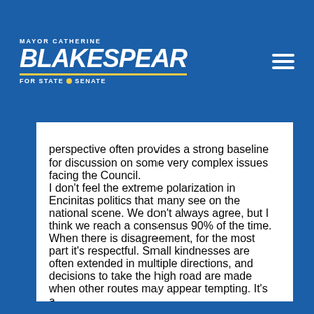[Figure (logo): Mayor Catherine Blakespear for State Senate campaign logo with blue background and yellow underline]
perspective often provides a strong baseline for discussion on some very complex issues facing the Council. I don't feel the extreme polarization in Encinitas politics that many see on the national scene. We don't always agree, but I think we reach a consensus 90% of the time. When there is disagreement, for the most part it's respectful. Small kindnesses are often extended in multiple directions, and decisions to take the high road are made when other routes may appear tempting. It's a